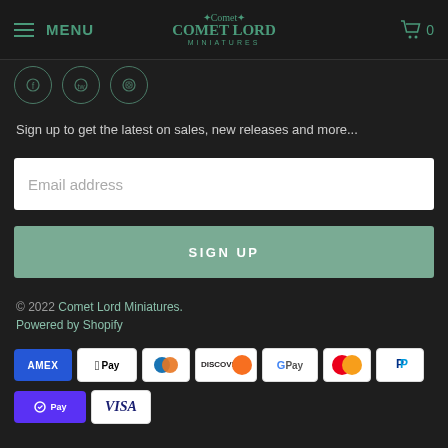MENU | Comet Lord Miniatures | Cart 0
[Figure (illustration): Three circular social media icons (partially visible)]
Sign up to get the latest on sales, new releases and more...
Email address
SIGN UP
© 2022 Comet Lord Miniatures.
Powered by Shopify
[Figure (illustration): Payment method icons: American Express, Apple Pay, Diners Club, Discover, Google Pay, Mastercard, PayPal, Shop Pay, Visa]